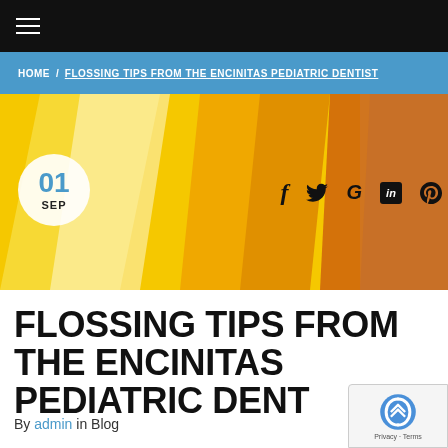≡ (navigation hamburger menu)
HOME / FLOSSING TIPS FROM THE ENCINITAS PEDIATRIC DENTIST
[Figure (illustration): Hero banner with colorful yellow, amber, and orange vertical stripe design. A circular white date badge shows '01 SEP' in the lower left. Social media icons (f, Twitter bird, G, LinkedIn, Pinterest) appear on the right side.]
FLOSSING TIPS FROM THE ENCINITAS PEDIATRIC DENT
By admin in Blog